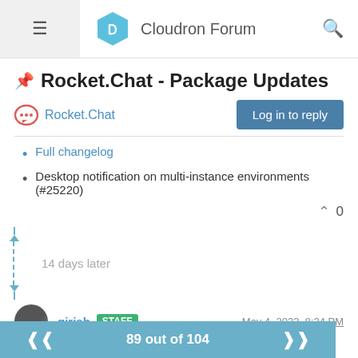Cloudron Forum
📌 Rocket.Chat - Package Updates
Rocket.Chat
Full changelog
Desktop notification on multi-instance environments (#25220)
14 days later
girish STAFF — May 4, 2022, 8:24 PM
[2.28.0]
89 out of 104